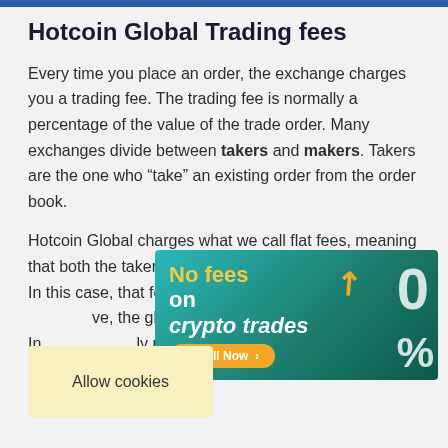Hotcoin Global Trading fees
Every time you place an order, the exchange charges you a trading fee. The trading fee is normally a percentage of the value of the trade order. Many exchanges divide between takers and makers. Takers are the one who “take” an existing order from the order book.
Hotcoin Global charges what we call flat fees, meaning that both the takers and the makers pay the same fee. In this case, that fee is 0.20%. These flat fees … ve, the global i… anges. In… ly p… ry average crypto trading fees.
[Figure (infographic): Advertisement banner: 'No fees on crypto trades' with orange arrow graphic and 0% symbol, Install Now button]
[Figure (infographic): Cookie consent banner: 'Allow cookies']